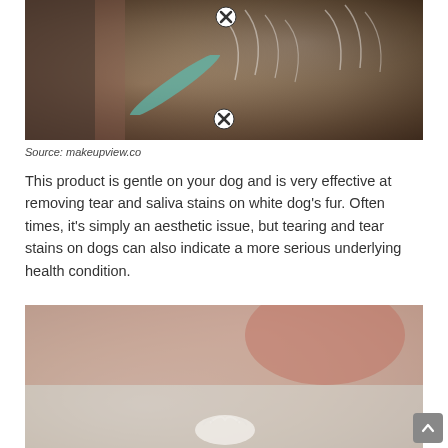[Figure (photo): White fluffy dog being brushed with a teal toothbrush or grooming tool, close-up shot with a close/dismiss button overlay]
Source: makeupview.co
This product is gentle on your dog and is very effective at removing tear and saliva stains on white dog's fur. Often times, it's simply an aesthetic issue, but tearing and tear stains on dogs can also indicate a more serious underlying health condition.
[Figure (photo): Blurry image of a small white fluffy dog on a light background with a close/dismiss button overlay, and a scroll-to-top button in bottom right corner]